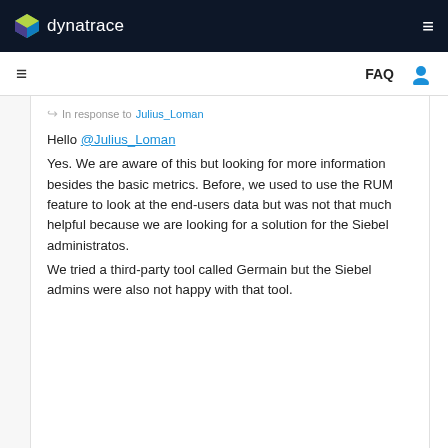[Figure (logo): Dynatrace logo with colorful cube icon and white text on dark navy background]
FAQ
In response to Julius_Loman
Hello @Julius_Loman
Yes. We are aware of this but looking for more information besides the basic metrics. Before, we used to use the RUM feature to look at the end-users data but was not that much helpful because we are looking for a solution for the Siebel administratos.
We tried a third-party tool called Germain but the Siebel admins were also not happy with that tool.